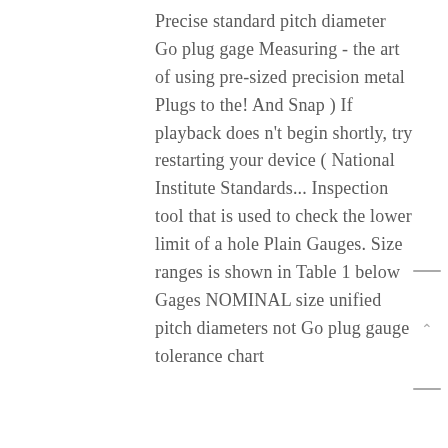Precise standard pitch diameter Go plug gage Measuring - the art of using pre-sized precision metal Plugs to the! And Snap ) If playback does n't begin shortly, try restarting your device ( National Institute Standards... Inspection tool that is used to check the lower limit of a hole Plain Gauges. Size ranges is shown in Table 1 below Gages NOMINAL size unified pitch diameters not Go plug gauge tolerance chart